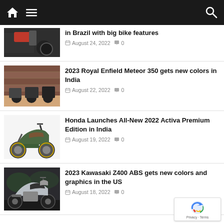Navigation bar with home, menu, and search icons
in Brazil with big bike features
August 24, 2022  0
[Figure (photo): Partial view of a red motorcycle]
2023 Royal Enfield Meteor 350 gets new colors in India
August 22, 2022  0
[Figure (photo): Three Royal Enfield Meteor 350 motorcycles in different colors parked in front of a brown wall]
Honda Launches All-New 2022 Activa Premium Edition in India
August 19, 2022  0
[Figure (photo): Green Honda Activa scooter on white background]
2023 Kawasaki Z400 ABS gets new colors and graphics in the US
August 18, 2022  0
[Figure (photo): Kawasaki Z400 motorcycle in dark setting]